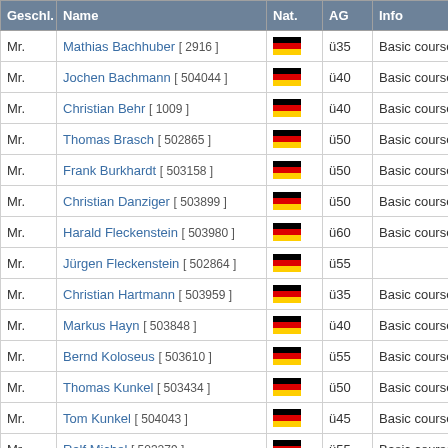| Geschl. | Name | Nat. | AG | Info |
| --- | --- | --- | --- | --- |
| Mr. | Mathias Bachhuber [ 2916 ] | DE | ü35 | Basic course |
| Mr. | Jochen Bachmann [ 504044 ] | DE | ü40 | Basic course |
| Mr. | Christian Behr [ 1009 ] | DE | ü40 | Basic course |
| Mr. | Thomas Brasch [ 502865 ] | DE | ü50 | Basic course |
| Mr. | Frank Burkhardt [ 503158 ] | DE | ü50 | Basic course |
| Mr. | Christian Danziger [ 503899 ] | DE | ü50 | Basic course |
| Mr. | Harald Fleckenstein [ 503980 ] | DE | ü60 | Basic course |
| Mr. | Jürgen Fleckenstein [ 502864 ] | DE | ü55 |  |
| Mr. | Christian Hartmann [ 503959 ] | DE | ü35 | Basic course |
| Mr. | Markus Hayn [ 503848 ] | DE | ü40 | Basic course |
| Mr. | Bernd Koloseus [ 503610 ] | DE | ü55 | Basic course |
| Mr. | Thomas Kunkel [ 503434 ] | DE | ü50 | Basic course |
| Mr. | Tom Kunkel [ 504043 ] | DE | ü45 | Basic course |
| Mr. | Ralf Michel [ 503279 ] | DE | ü55 | Basic course |
| Mr. | Lajos Muth [ 2915 ] | HU | ü35 | Basic course |